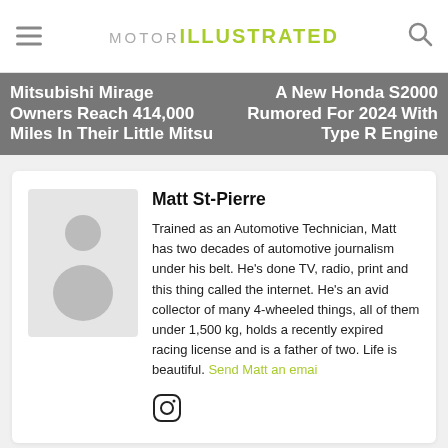MOTOR ILLUSTRATED
Mitsubishi Mirage Owners Reach 414,000 Miles In Their Little Mitsu
A New Honda S2000 Rumored For 2024 With Type R Engine
Matt St-Pierre
Trained as an Automotive Technician, Matt has two decades of automotive journalism under his belt. He's done TV, radio, print and this thing called the internet. He's an avid collector of many 4-wheeled things, all of them under 1,500 kg, holds a recently expired racing license and is a father of two. Life is beautiful. Send Matt an email
[Figure (illustration): Instagram icon / social media link]